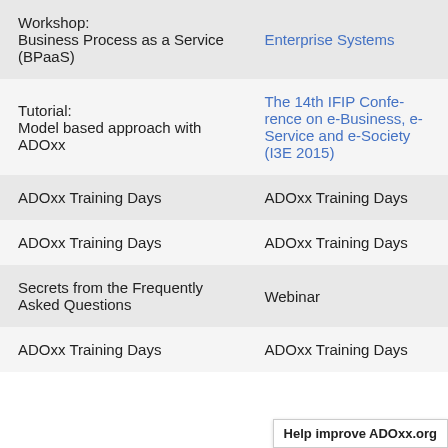| Title | Event |
| --- | --- |
| Workshop:
Business Process as a Service (BPaaS) | Enterprise Systems |
| Tutorial:
Model based approach with ADOxx | The 14th IFIP Conference on e-Business, e-Service and e-Society (I3E 2015) |
| ADOxx Training Days | ADOxx Training Days |
| ADOxx Training Days | ADOxx Training Days |
| Secrets from the Frequently Asked Questions | Webinar |
| ADOxx Training Days | ADOxx Training Days |
Help improve ADOxx.org